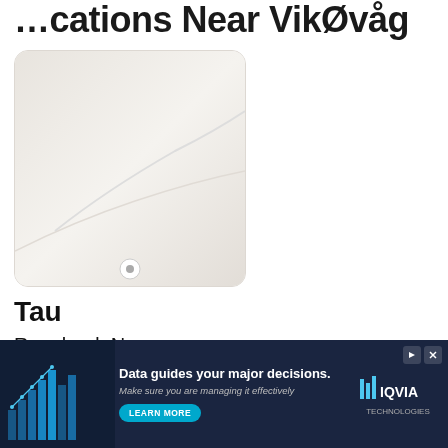Locations Near VikØvåg
[Figure (map): Map thumbnail showing a light beige/grey area map with rounded corners, content partially visible]
Tau
Rogaland, Norway
7.52 miles away
[Figure (map): Map thumbnail showing roads and Finnøy transformatorstasjon area near Tau, Rogaland, Norway. Road 819 visible.]
Judab...
Rogala...
[Figure (infographic): IQVIA Technologies advertisement banner. Text: 'Data guides your major decisions. Make sure you are managing it effectively' with LEARN MORE button and IQVIA Technologies logo on dark navy background with blue data visualization graphic.]